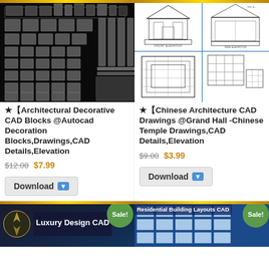[Figure (screenshot): CAD drawing of architectural decorative blocks - column capitals, ornamental details on black background]
[Figure (screenshot): Chinese architecture CAD drawings showing temple elevations and floor plans, 4-panel layout]
★【Architectural Decorative CAD Blocks @Autocad Decoration Blocks,Drawings,CAD Details,Elevation
★【Chinese Architecture CAD Drawings @Grand Hall -Chinese Temple Drawings,CAD Details,Elevation
$12.00 $7.99
$9.00 $3.99
Download
Download
[Figure (screenshot): Luxury Design CAD thumbnail with Sale! badge]
[Figure (screenshot): Residential Building Layouts CAD thumbnail with Sale! badge]